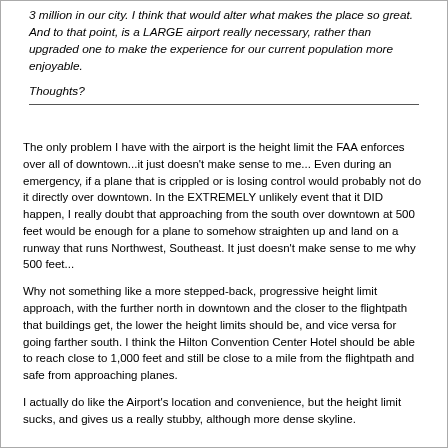3 million in our city. I think that would alter what makes the place so great. And to that point, is a LARGE airport really necessary, rather than upgraded one to make the experience for our current population more enjoyable.
Thoughts?
The only problem I have with the airport is the height limit the FAA enforces over all of downtown...it just doesn't make sense to me... Even during an emergency, if a plane that is crippled or is losing control would probably not do it directly over downtown. In the EXTREMELY unlikely event that it DID happen, I really doubt that approaching from the south over downtown at 500 feet would be enough for a plane to somehow straighten up and land on a runway that runs Northwest, Southeast. It just doesn't make sense to me why 500 feet...
Why not something like a more stepped-back, progressive height limit approach, with the further north in downtown and the closer to the flightpath that buildings get, the lower the height limits should be, and vice versa for going farther south. I think the Hilton Convention Center Hotel should be able to reach close to 1,000 feet and still be close to a mile from the flightpath and safe from approaching planes.
I actually do like the Airport's location and convenience, but the height limit sucks, and gives us a really stubby, although more dense skyline.